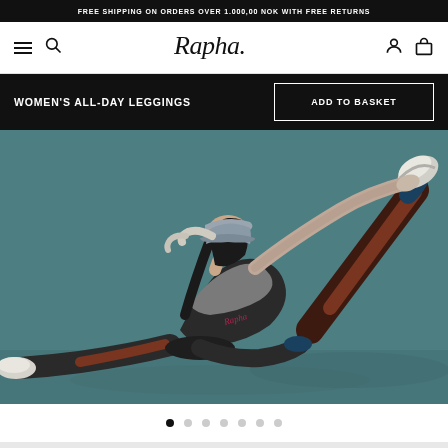FREE SHIPPING ON ORDERS OVER 1.000,00 NOK WITH FREE RETURNS
[Figure (logo): Rapha brand logo in italic script font]
WOMEN'S ALL-DAY LEGGINGS
ADD TO BASKET
[Figure (photo): Woman in Rapha leggings (dark with rust/brown color block panel) sitting on floor stretching, holding foot up high above her head, wearing a grey bucket hat, grey top, and white sneakers, against a teal/green-grey background]